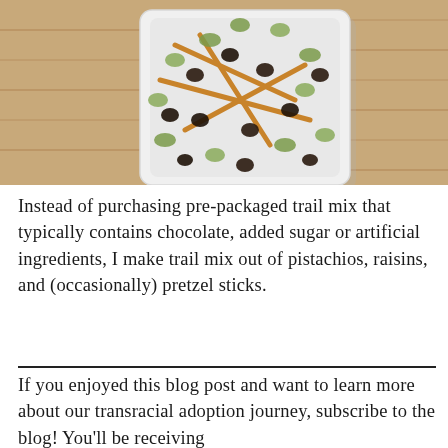[Figure (photo): Overhead photo of a white square bowl filled with trail mix containing pistachios, raisins, and pretzel sticks, placed on a light wood surface.]
Instead of purchasing pre-packaged trail mix that typically contains chocolate, added sugar or artificial ingredients, I make trail mix out of pistachios, raisins, and (occasionally) pretzel sticks.
If you enjoyed this blog post and want to learn more about our transracial adoption journey, subscribe to the blog! You'll be receiving...